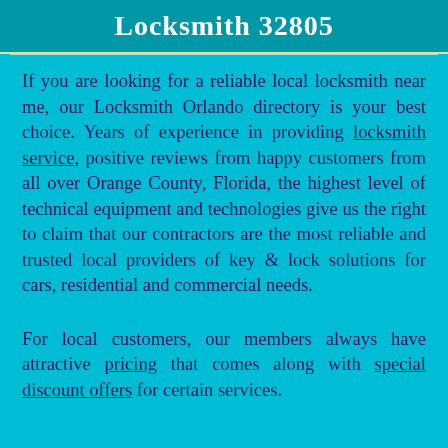Locksmith 32805
If you are looking for a reliable local locksmith near me, our Locksmith Orlando directory is your best choice. Years of experience in providing locksmith service, positive reviews from happy customers from all over Orange County, Florida, the highest level of technical equipment and technologies give us the right to claim that our contractors are the most reliable and trusted local providers of key & lock solutions for cars, residential and commercial needs.
For local customers, our members always have attractive pricing that comes along with special discount offers for certain services.